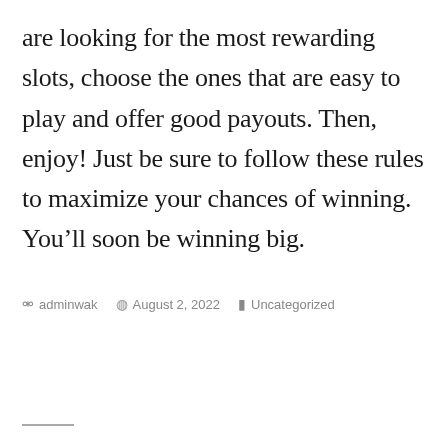are looking for the most rewarding slots, choose the ones that are easy to play and offer good payouts. Then, enjoy! Just be sure to follow these rules to maximize your chances of winning. You'll soon be winning big.
adminwak   August 2, 2022   Uncategorized